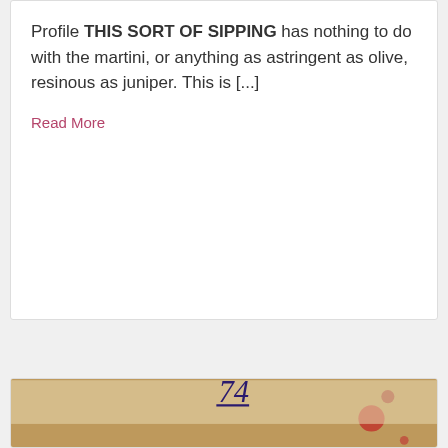Profile THIS SORT OF SIPPING has nothing to do with the martini, or anything as astringent as olive, resinous as juniper. This is [...]
Read More
[Figure (photo): Cover image of 'willow springs' literary magazine issue 74, showing a textured collage-style artwork with the text 'willow springs 74' in dark blue letters over a mixed-media background with paint splatters, earth tones, pinks, and reds.]